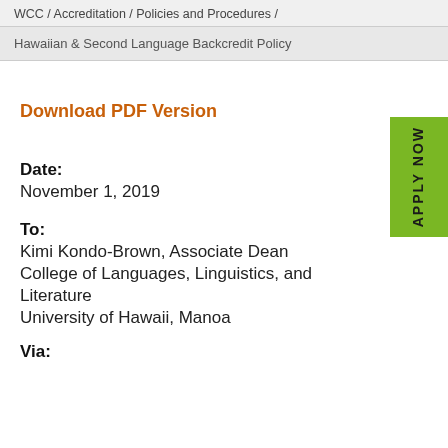WCC / Accreditation / Policies and Procedures /
Hawaiian & Second Language Backcredit Policy
Download PDF Version
Date:
November 1, 2019
To:
Kimi Kondo-Brown, Associate Dean
College of Languages, Linguistics, and Literature
University of Hawaii, Manoa
Via: